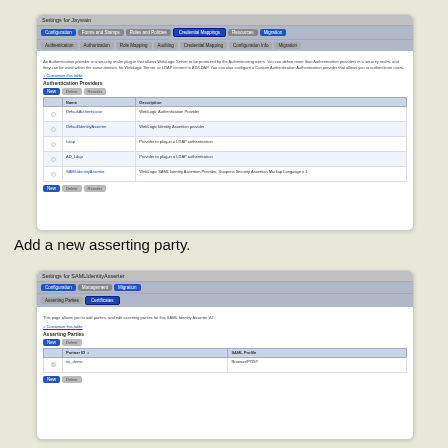[Figure (screenshot): Settings for Jaywain - Authentication Providers configuration panel with navigation tabs (Configuration, Forms and Stamps, Rules and Policies, Credential Mappings, Resources, Migration) and sub-tabs (Authentication, Authorization, Role Mapping, Auditing, Credential Mapping, Configuration Info, Migration). Shows Authentication Providers table with rows including LocalAuthenticator, DefaultAuthenticator, Ldap, AD_Ldap, SAMLIdentityAsserter entries with New/Delete/Reorder buttons.]
Add a new asserting party.
[Figure (screenshot): Settings for SAMLIdentityAsserter - Configuration panel with tabs (Configuration, Management, Migration) and sub-tabs (Asserting Parties, Certificates). Shows description text about adding parties and editing settings. Shows Asserting Parties table with Partner ID and SAML Profile columns, with one row (ita_demo, Browser/POST) and New/Delete buttons.]
Here we add the url of the application which run on the